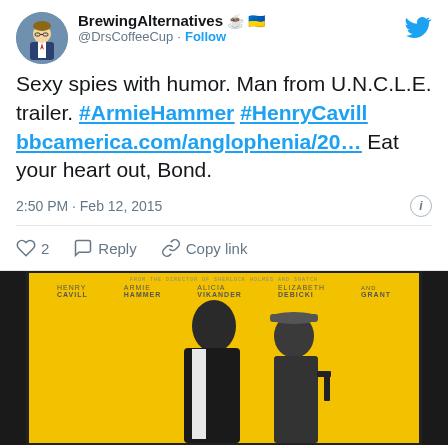BrewingAlternatives ☕ 🇺🇦 @DrsCoffeeCup · Follow
Sexy spies with humor. Man from U.N.C.L.E. trailer. #ArmieHammer #HenryCavill bbcamerica.com/anglophenia/20... Eat your heart out, Bond.
2:50 PM · Feb 12, 2015
2  Reply  Copy link
[Figure (photo): Movie poster for The Man from U.N.C.L.E. showing two men in suits on a yellow background with cast names at top]